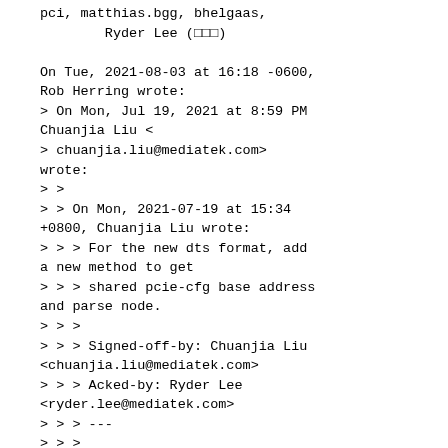pci, matthias.bgg, bhelgaas,
        Ryder Lee (□□□)

On Tue, 2021-08-03 at 16:18 -0600,
Rob Herring wrote:
> On Mon, Jul 19, 2021 at 8:59 PM
Chuanjia Liu <
> chuanjia.liu@mediatek.com>
wrote:
> >
> > On Mon, 2021-07-19 at 15:34
+0800, Chuanjia Liu wrote:
> > > For the new dts format, add
a new method to get
> > > shared pcie-cfg base address
and parse node.
> > >
> > > Signed-off-by: Chuanjia Liu
<chuanjia.liu@mediatek.com>
> > > Acked-by: Ryder Lee
<ryder.lee@mediatek.com>
> > > ---
> > >
drivers/pci/controller/pcie-
mediatek.c | 52
++++++++++++++++++++-
> > > ------
> > >  1 file changed, 39
insertions(+), 13 deletions(-)
> > >